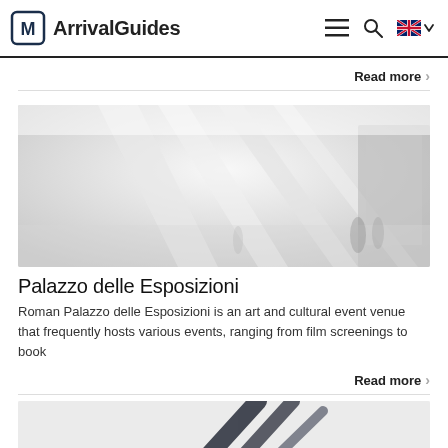ArrivalGuides
Read more
[Figure (photo): Interior of Palazzo delle Esposizioni — a bright white exhibition hall with blurred figures walking in the background]
Palazzo delle Esposizioni
Roman Palazzo delle Esposizioni is an art and cultural event venue that frequently hosts various events, ranging from film screenings to book
Read more
[Figure (photo): Partial image of the next article card, showing dark diagonal lines against a light grey background]